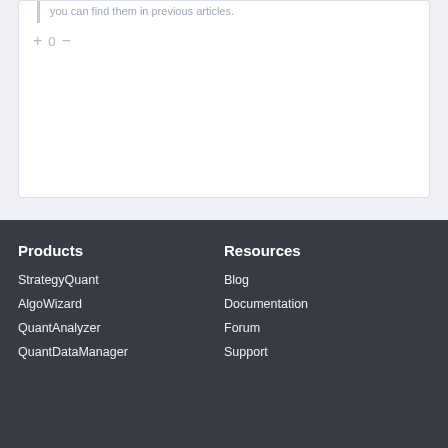you can find them in previous articles.
+ 0 −
Products
Resources
StrategyQuant
Blog
AlgoWizard
Documentation
QuantAnalyzer
Forum
QuantDataManager
Support